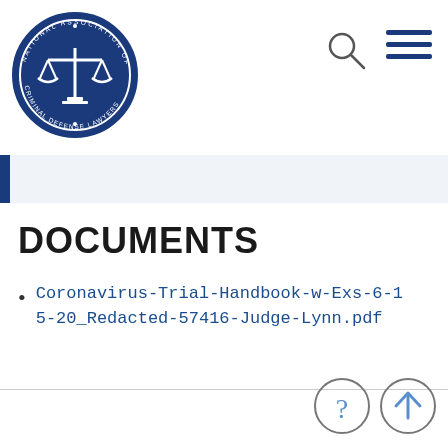[Figure (logo): National Association of Criminal Defense Lawyers circular logo with scales of justice in blue]
[Figure (illustration): Magnifying glass search icon (outline)]
[Figure (illustration): Hamburger menu icon (three horizontal lines)]
DOCUMENTS
Coronavirus-Trial-Handbook-w-Exs-6-15-20_Redacted-57416-Judge-Lynn.pdf
[Figure (illustration): Question mark help icon in circle]
[Figure (illustration): Up arrow icon in circle]